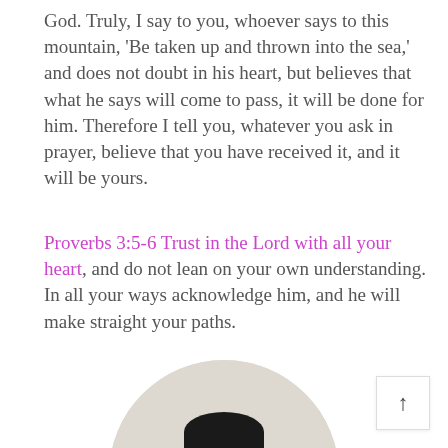God. Truly, I say to you, whoever says to this mountain, ‘Be taken up and thrown into the sea,’ and does not doubt in his heart, but believes that what he says will come to pass, it will be done for him. Therefore I tell you, whatever you ask in prayer, believe that you have received it, and it will be yours.
Proverbs 3:5-6 Trust in the Lord with all your heart, and do not lean on your own understanding. In all your ways acknowledge him, and he will make straight your paths.
[Figure (photo): A circular portrait photo of a man wearing glasses, a blue clerical vest/robe, and a white collar, smiling at the camera against a light background.]